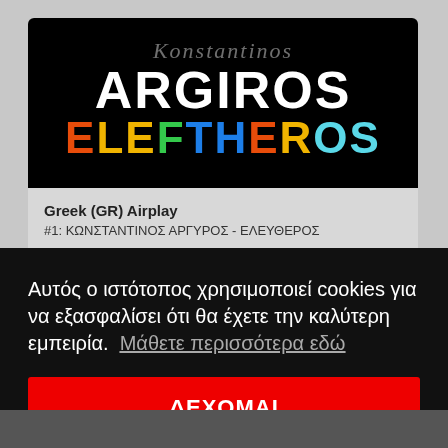[Figure (logo): Konstantinos Argiros - Eleftheros album art: black background with stylized script text above, large white bold 'ARGIROS' text, and colorful 'ELEFTHEROS' text in orange, yellow, green, blue, and cyan letters.]
Greek (GR) Airplay
#1: ΚΩΝΣΤΑΝΤΙΝΟΣ ΑΡΓΥΡΟΣ - ΕΛΕΥΘΕΡΟΣ
Αυτός ο ιστότοπος χρησιμοποιεί cookies για να εξασφαλίσει ότι θα έχετε την καλύτερη εμπειρία.  Μάθετε περισσότερα εδώ
ΔΕΧΟΜΑΙ